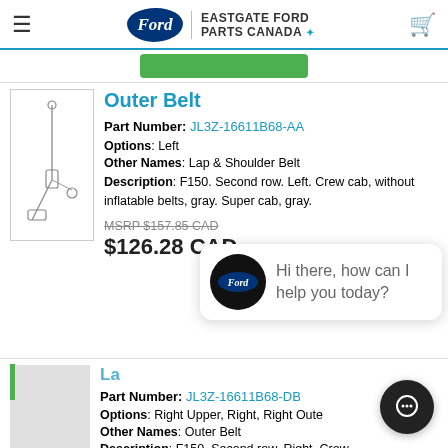Eastgate Ford Parts Canada
Outer Belt
Part Number: JL3Z-16611B68-AA
Options: Left
Other Names: Lap & Shoulder Belt
Description: F150. Second row. Left. Crew cab, without inflatable belts, gray. Super cab, gray.
MSRP $157.85 CAD
$126.28 CAD
[Figure (screenshot): Chat widget popup with avatar and text: Hi there, how can I help you today?]
Lap & Shoulder Belt
Part Number: JL3Z-16611B68-DB
Options: Right Upper, Right, Right Outer
Other Names: Outer Belt
Description: F150. Second row. Right. Crew